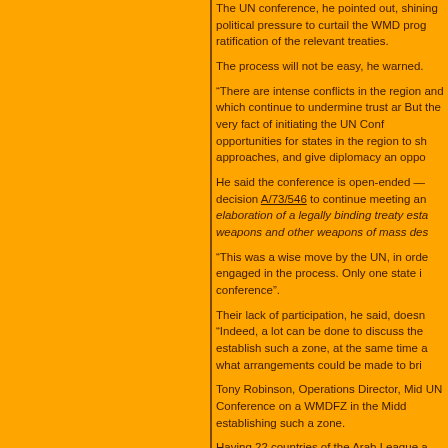The UN conference, he pointed out, shining political pressure to curtail the WMD programmes and ratification of the relevant treaties.
The process will not be easy, he warned.
“There are intense conflicts in the region and which continue to undermine trust and But the very fact of initiating the UN Conference opportunities for states in the region to share approaches, and give diplomacy an opportunity.
He said the conference is open-ended — decision A/73/546 to continue meeting and elaboration of a legally binding treaty establishing weapons and other weapons of mass destruction.
“This was a wise move by the UN, in order to keep engaged in the process. Only one state is absent from the conference”.
Their lack of participation, he said, doesn’t prevent progress. “Indeed, a lot can be done to discuss the modalities to establish such a zone, at the same time analysing what arrangements could be made to bring them in.”
Tony Robinson, Operations Director, Middle East UN Conference on a WMDFZ in the Middle East on establishing such a zone.
Having 22 countries of the Arab League attending, he said. The only regional country absent was Israel, but the room can’t make progress in a process that excludes them.